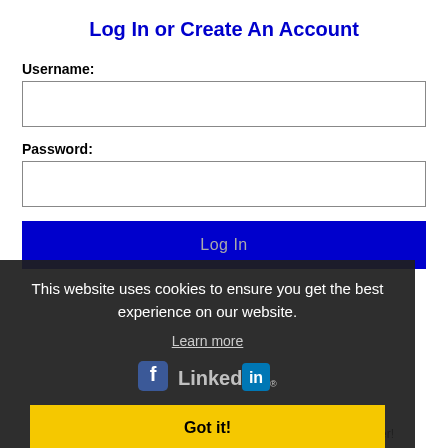Log In or Create An Account
Username:
Password:
Log In
This website uses cookies to ensure you get the best experience on our website.
Learn more
[Figure (logo): LinkedIn logo]
Got it!
Get the latest California jobs by following @recnetCA on Twitter!